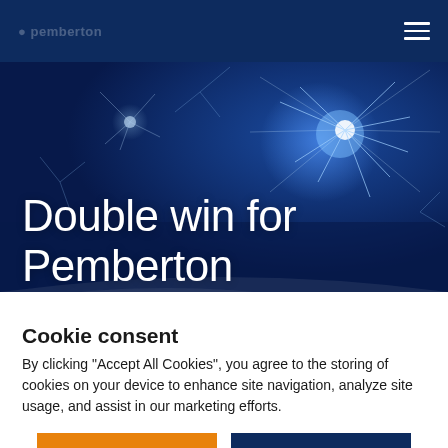Pemberton
[Figure (photo): Dark blue background with sparkling fireworks/sparkler light effects in blue and white tones, used as hero banner image with text 'Double win for Pemberton' overlaid in white.]
Double win for Pemberton
Cookie consent
By clicking “Accept All Cookies”, you agree to the storing of cookies on your device to enhance site navigation, analyze site usage, and assist in our marketing efforts.
Cookie Settings | Accept All